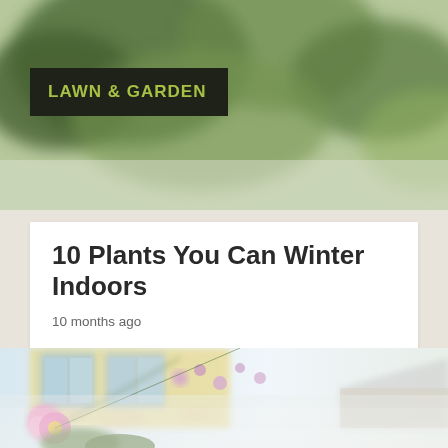[Figure (photo): Blurred garden/foliage background image with dark green leaves, used as banner header]
LAWN & GARDEN
10 Plants You Can Winter Indoors
10 months ago
[Figure (photo): Photo of pink/purple flowers in front of a house with windows, bright and airy outdoor garden scene]
[Figure (photo): Partial reflection/lower continuation of the flower garden photo, faded and light]